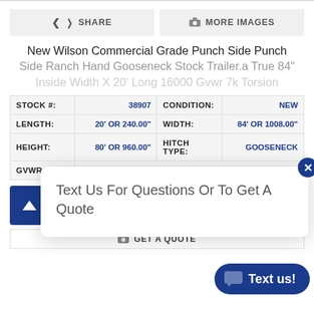[Figure (screenshot): Web page showing trailer listing with Share and More Images buttons, title, specs table, Wilson Trailer logo, popup chat widget, and Get a Quote bar]
SHARE
MORE IMAGES
New Wilson Commercial Grade Punch Side Punch Side Ranch Hand Gooseneck Stock Trailer.a True 84" Inside Width X 20' Long 16000 Gvwr 7k Torsion
| STOCK #: | 38907 | CONDITION: | NEW |
| --- | --- | --- | --- |
| LENGTH: | 20' OR 240.00" | WIDTH: | 84' OR 1008.00" |
| HEIGHT: | 80' OR 960.00" | HITCH TYPE: | GOOSENECK |
| GVWR: |  |  |  |
Text Us For Questions Or To Get A Quote
[Figure (logo): Wilson Trailer logo - red square with anchor icon and Wilson Trailer text]